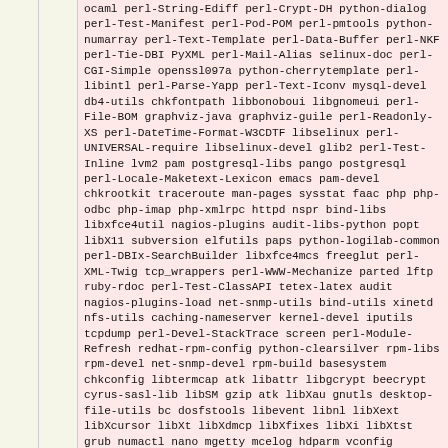ocaml perl-String-Ediff perl-Crypt-DH python-dialog perl-Test-Manifest perl-Pod-POM perl-pmtools python-numarray perl-Text-Template perl-Data-Buffer perl-NKF perl-Tie-DBI PyXML perl-Mail-Alias selinux-doc perl-CGI-Simple openssl097a python-cherrytemplate perl-libintl perl-Parse-Yapp perl-Text-Iconv mysql-devel db4-utils chkfontpath libbonoboui libgnomeui perl-File-BOM graphviz-java graphviz-guile perl-Readonly-XS perl-DateTime-Format-W3CDTF libselinux perl-UNIVERSAL-require libselinux-devel glib2 perl-Test-Inline lvm2 pam postgresql-libs pango postgresql perl-Locale-Maketext-Lexicon emacs pam-devel chkrootkit traceroute man-pages sysstat faac php php-odbc php-imap php-xmlrpc httpd nspr bind-libs libxfce4util nagios-plugins audit-libs-python popt libX11 subversion elfutils paps python-logilab-common perl-DBIx-SearchBuilder libxfce4mcs freeglut perl-XML-Twig tcp_wrappers perl-WWW-Mechanize parted lftp ruby-rdoc perl-Test-ClassAPI tetex-latex audit nagios-plugins-load net-snmp-utils bind-utils xinetd nfs-utils caching-nameserver kernel-devel iputils tcpdump perl-Devel-StackTrace screen perl-Module-Refresh redhat-rpm-config python-clearsilver rpm-libs rpm-devel net-snmp-devel rpm-build basesystem chkconfig libtermcap atk libattr libgcrypt beecrypt cyrus-sasl-lib libSM gzip atk libXau gnutls desktop-file-utils bc dosfstools libevent libnl libXext libXcursor libXt libXdmcp libXfixes libXi libXtst grub numactl nano mgetty mcelog hdparm vconfig pam_smb tree setarch pam_smb findutils fontconfig fontconfig hwdata nfs-utils-lib system-config-securitylevel-tui usermode mtools redhat-lsb firstboot-tui pam_ccreds ipsec-tools apr sqlite apr-util sgml-common db4-devel libsepol-devel e2fsprogs-devel distro-...